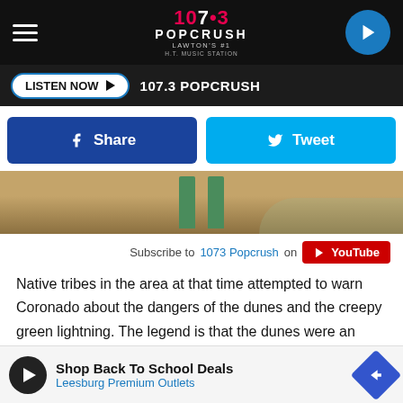107.3 POPCRUSH — LAWTON'S #1 HIT MUSIC STATION
LISTEN NOW ▶  107.3 POPCRUSH
[Figure (screenshot): Share and Tweet social media buttons — blue Facebook Share button and cyan Twitter Tweet button]
[Figure (photo): Aerial view of sandy desert dunes with two green vertical posts visible from above]
Subscribe to 1073 Popcrush on YouTube
Native tribes in the area at that time attempted to warn Coronado about the dangers of the dunes and the creepy green lightning. The legend is that the dunes were an ancient burial ground and that the spirits forbid anyone living from crossing. Despite the warnings, Coronado and his men set off to explore the dunes and surrounding area. None of the Native [tribes warned them] the
[Figure (screenshot): Advertisement banner: Shop Back To School Deals — Leesburg Premium Outlets]